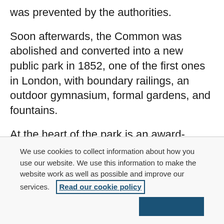was prevented by the authorities.
Soon afterwards, the Common was abolished and converted into a new public park in 1852, one of the first ones in London, with boundary railings, an outdoor gymnasium, formal gardens, and fountains.
At the heart of the park is an award-winning Old English ‘Flower Garden’, recently restored with funding from the National Lottery Heritage Fund and Lambeth Council. The park also contains
We use cookies to collect information about how you use our website. We use this information to make the website work as well as possible and improve our services.  Read our cookie policy